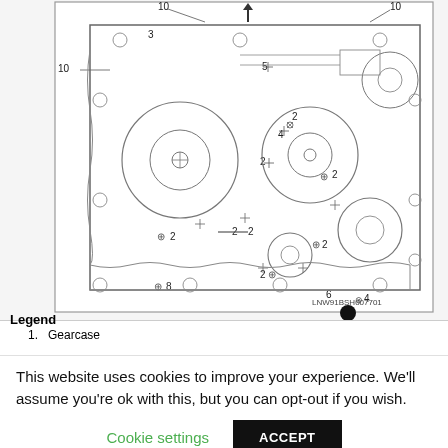[Figure (engineering-diagram): Technical exploded/assembly diagram of an engine gearcase showing numbered bolt positions and components. Numbers visible: 2, 3, 4, 5, 6, 7, 8, 9, 10. Reference code: LNW91BSH007701. An upward arrow is shown at the top center. Bolt positions marked with crosshair symbols throughout.]
Legend
1.  Gearcase
This website uses cookies to improve your experience. We'll assume you're ok with this, but you can opt-out if you wish.
Cookie settings   ACCEPT